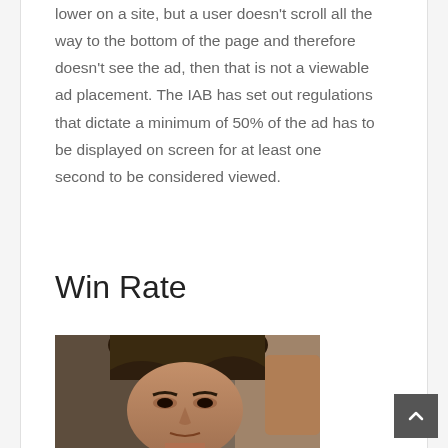lower on a site, but a user doesn't scroll all the way to the bottom of the page and therefore doesn't see the ad, then that is not a viewable ad placement. The IAB has set out regulations that dictate a minimum of 50% of the ad has to be displayed on screen for at least one second to be considered viewed.
Win Rate
[Figure (photo): Photo of a person's face (partially visible, head and upper shoulders), blurred/candid style photograph]